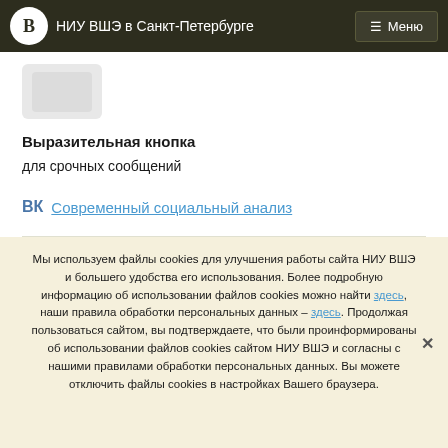НИУ ВШЭ в Санкт-Петербурге  Меню
[Figure (other): Small grey image placeholder thumbnail]
Выразительная кнопка
для срочных сообщений
ВКонтакте – Современный социальный анализ
Мы используем файлы cookies для улучшения работы сайта НИУ ВШЭ и большего удобства его использования. Более подробную информацию об использовании файлов cookies можно найти здесь, наши правила обработки персональных данных – здесь. Продолжая пользоваться сайтом, вы подтверждаете, что были проинформированы об использовании файлов cookies сайтом НИУ ВШЭ и согласны с нашими правилами обработки персональных данных. Вы можете отключить файлы cookies в настройках Вашего браузера.